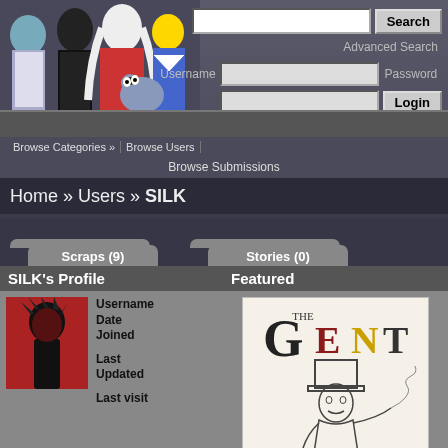[Figure (illustration): Anime characters group illustration - Fanart Central website header]
Fanart Central
Search | Advanced Search | Username | Password | Login | Remember | Register | Forgot your password?
FILTERS | About | FAQ | Forums | Browse Categories | Browse Users | Browse Submissions
Home » Users » SILK
Profile
Pictures (197)
Scraps (9)
Stories (0)
SILK's Profile
Featured
Username
Date Joined
Last Updated
Last visit
[Figure (photo): SILK avatar - anime character with spiky red-tinted hair silhouette]
[Figure (illustration): Featured artwork titled 'THE GENT' showing a gentleman with top hat smoking]